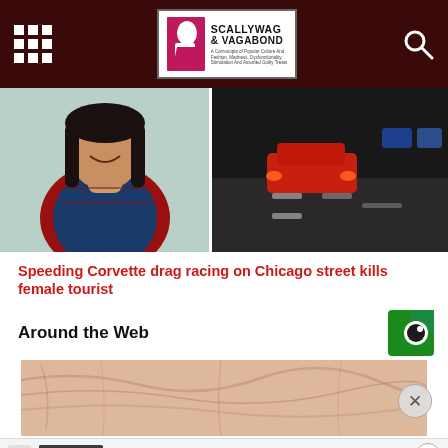[Figure (screenshot): Website navigation bar for Scallywag & Vagabond with grid menu icon on left, logo in center, and search icon on right. Dark maroon background.]
[Figure (photo): Two side-by-side photos: left shows a smiling woman in a flannel shirt over a blue tank top; right shows a nighttime street scene with a red car on a road.]
Speeding Corvette drag racing on Chicago street kills female tourist
Around the Web
[Figure (photo): Close-up photo of aged skin texture with pinkish tones.]
[Figure (screenshot): Advertisement banner: 'Buy 3 Get 4th 40% Off' for Cotosen clothing brand with a 'Shop Now' call to action and clothing imagery.]